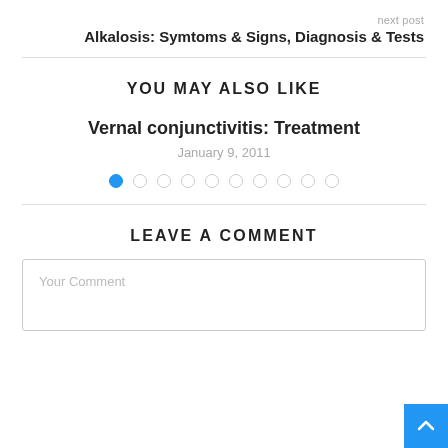next post
Alkalosis: Symtoms & Signs, Diagnosis & Tests
YOU MAY ALSO LIKE
Vernal conjunctivitis: Treatment
January 9, 2011
[Figure (other): Pagination dots: 10 dots, first one filled blue indicating current slide]
LEAVE A COMMENT
Your Comment